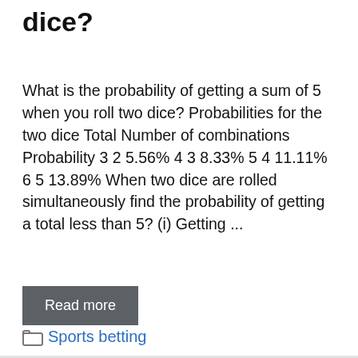dice?
What is the probability of getting a sum of 5 when you roll two dice? Probabilities for the two dice Total Number of combinations Probability 3 2 5.56% 4 3 8.33% 5 4 11.11% 6 5 13.89% When two dice are rolled simultaneously find the probability of getting a total less than 5? (i) Getting ...
Read more
Sports betting